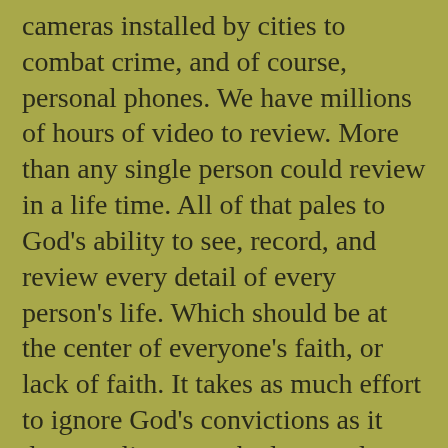cameras installed by cities to combat crime, and of course, personal phones. We have millions of hours of video to review. More than any single person could review in a life time. All of that pales to God's ability to see, record, and review every detail of every person's life. Which should be at the center of everyone's faith, or lack of faith. It takes as much effort to ignore God's convictions as it does to cling onto the love and hope God holds out during trying times such as these. The fact of the matter is, faith can be calculated and measured based on the amount of time and effort put into reviewing events that unfold. When little time and effort is invested, little faith is received. The same is true when faith is compared to conviction. If crimes are committed and little or no time is exerted to review why that crime was committed, little is done to see and accepted God's hand in changing that attitude. It is true, people struggle with the crimes they commit and